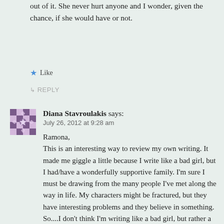out of it. She never hurt anyone and I wonder, given the chance, if she would have or not.
★ Like
↳ REPLY
Diana Stavroulakis says:
July 26, 2012 at 9:28 am
Ramona,
This is an interesting way to review my own writing. It made me giggle a little because I write like a bad girl, but I had/have a wonderfully supportive family. I'm sure I must be drawing from the many people I've met along the way in life. My characters might be fractured, but they have interesting problems and they believe in something. So....I don't think I'm writing like a bad girl, but rather a girl who has encountered